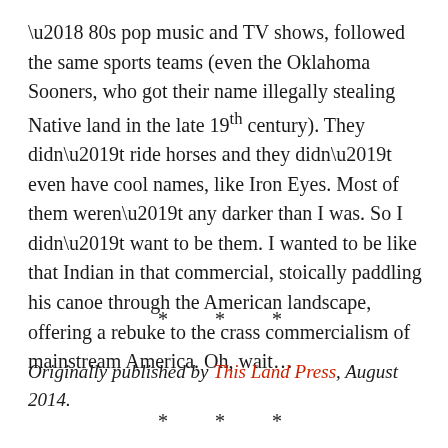‘ 80s pop music and TV shows, followed the same sports teams (even the Oklahoma Sooners, who got their name illegally stealing Native land in the late 19th century). They didn’t ride horses and they didn’t even have cool names, like Iron Eyes. Most of them weren’t any darker than I was. So I didn’t want to be them. I wanted to be like that Indian in that commercial, stoically paddling his canoe through the American landscape, offering a rebuke to the crass commercialism of mainstream America. Oh, wait…
* * *
Originally published by This Land Press, August 2014.
* * *